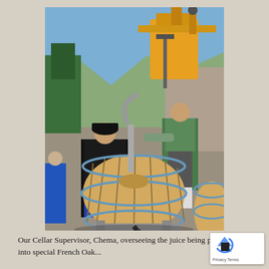[Figure (photo): Outdoor winery scene showing two workers — one in a black hoodie and jeans leaning over a new oak barrel, and another in a green vest and dark shorts — working with winery equipment including a yellow barrel-filling machine. Mountains and blue sky are visible in the background.]
Our Cellar Supervisor, Chema, overseeing the juice being pumped into special French Oak...